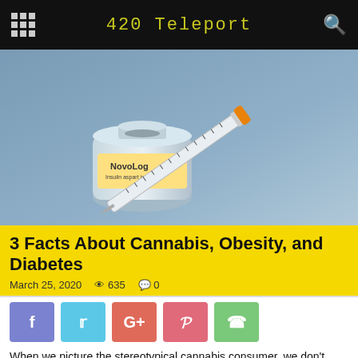420 Teleport
[Figure (photo): A medical insulin vial labeled 'NovoLog' with an insulin syringe leaning against it on a blue-grey background.]
3 Facts About Cannabis, Obesity, and Diabetes
March 25, 2020   635   0
[Figure (infographic): Social media share buttons: Facebook (purple), Twitter (blue), Google+ (red-orange), Pinterest (pink-red), WhatsApp (green)]
When we picture the stereotypical cannabis consumer, we don't tend to picture health, fitness, and a trim waistline. Yet, a number of new